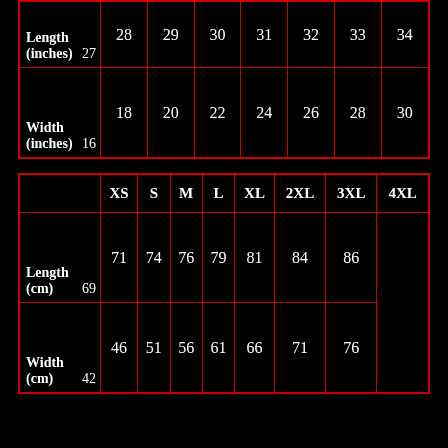|  | 27 | 28 | 29 | 30 | 31 | 32 | 33 | 34 |
| --- | --- | --- | --- | --- | --- | --- | --- | --- |
| Length (inches) | 27 | 28 | 29 | 30 | 31 | 32 | 33 | 34 |
| Width (inches) | 16 | 18 | 20 | 22 | 24 | 26 | 28 | 30 |
|  | XS | S | M | L | XL | 2XL | 3XL | 4XL |
| --- | --- | --- | --- | --- | --- | --- | --- | --- |
| Length (cm) | 69 | 71 | 74 | 76 | 79 | 81 | 84 | 86 |
| Width (cm) | 42 | 46 | 51 | 56 | 61 | 66 | 71 | 76 |